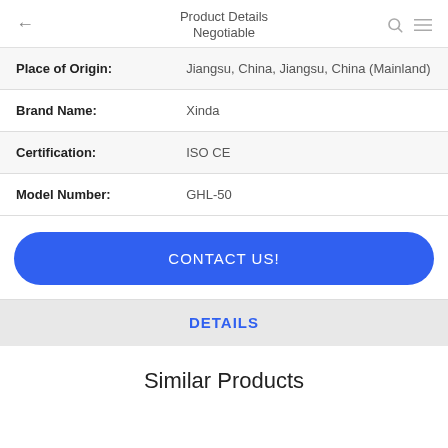Product Details / Negotiable
| Place of Origin: | Jiangsu, China, Jiangsu, China (Mainland) |
| Brand Name: | Xinda |
| Certification: | ISO CE |
| Model Number: | GHL-50 |
CONTACT US!
DETAILS
Similar Products